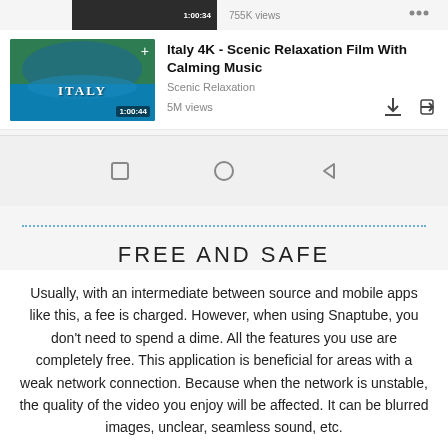[Figure (screenshot): Mobile app screenshot showing a YouTube-like video listing for 'Italy 4K - Scenic Relaxation Film With Calming Music' by Scenic Relaxation with 5M views, a thumbnail showing Italian coastal scenery, download and share icons, and Android navigation bar with square, circle, and back triangle buttons.]
FREE AND SAFE
Usually, with an intermediate between source and mobile apps like this, a fee is charged. However, when using Snaptube, you don't need to spend a dime. All the features you use are completely free. This application is beneficial for areas with a weak network connection. Because when the network is unstable, the quality of the video you enjoy will be affected. It can be blurred images, unclear, seamless sound, etc.